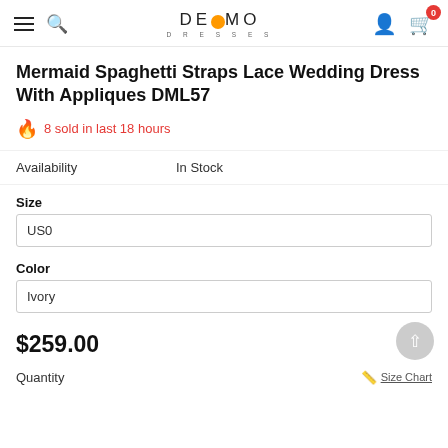DEMO DRESSES navigation bar with hamburger menu, search, logo, user icon, cart (0)
Mermaid Spaghetti Straps Lace Wedding Dress With Appliques DML57
🔥 8 sold in last 18 hours
| Field | Value |
| --- | --- |
| Availability | In Stock |
Size
US0
Color
Ivory
$259.00
Quantity
Size Chart